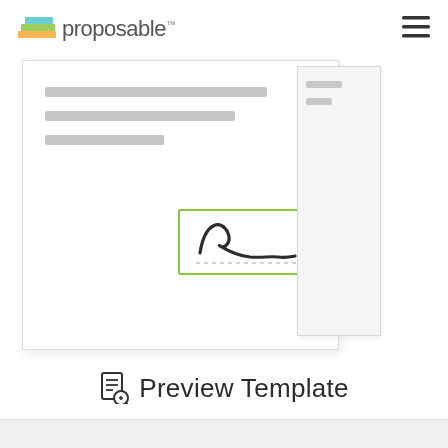proposable™
[Figure (screenshot): A document preview showing a proposal template with grey placeholder text lines and a cursive signature inside a green-bordered signature box. A second stacked page is visible behind the main document.]
Preview Template
[Figure (other): Bottom grey bar / footer strip]